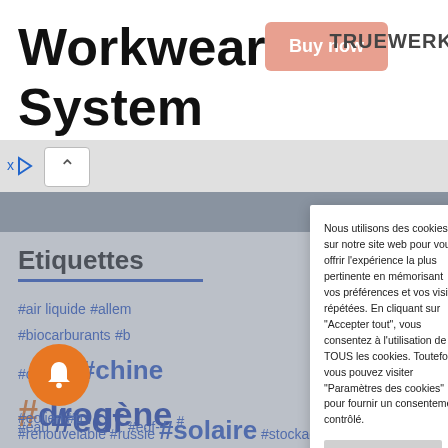[Figure (screenshot): Advertisement banner showing 'Workwear As System' text with an orange 'Buy now' button and TRUEWERK logo on the right]
[Figure (screenshot): Media player icon bar with a chevron-up button on gray background]
Etiquettes
#air liquide #allem #biocarburants #b #charbon #chine #eau #edf #edf- #europe #fi #hydrogène # #eolien #p #renouvelable #russie #solaire #stockage #technip
Nous utilisons des cookies sur notre site web pour vous offrir l'expérience la plus pertinente en mémorisant vos préférences et vos visites répétées. En cliquant sur "Accepter tout", vous consentez à l'utilisation de TOUS les cookies. Toutefois, vous pouvez visiter "Paramètres des cookies" pour fournir un consentement contrôlé.
Paramètres des cookies
Accepter tout